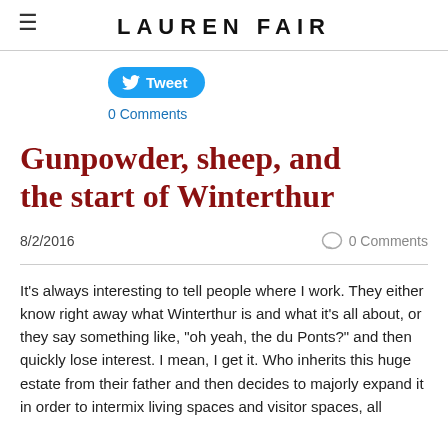LAUREN FAIR
[Figure (other): Twitter Tweet button (blue pill-shaped button with bird icon and 'Tweet' text)]
0 Comments
Gunpowder, sheep, and the start of Winterthur
8/2/2016
0 Comments
It's always interesting to tell people where I work. They either know right away what Winterthur is and what it's all about, or they say something like, "oh yeah, the du Ponts?" and then quickly lose interest. I mean, I get it. Who inherits this huge estate from their father and then decides to majorly expand it in order to intermix living spaces and visitor spaces, all